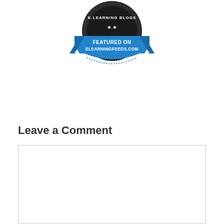[Figure (logo): Badge/seal graphic: 'Featured on ElearningFeeds.com' badge with blue ribbon and dark circular seal background with stars]
Leave a Comment
[Figure (screenshot): Empty comment text input box with light gray border]